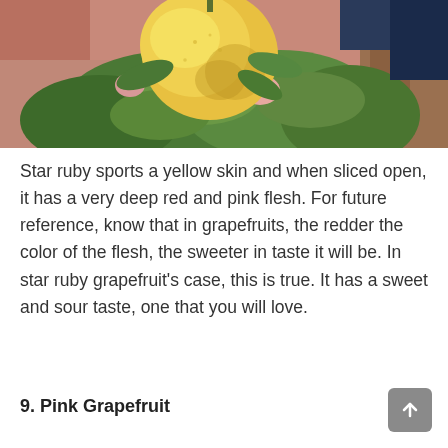[Figure (photo): A yellow grapefruit hanging on a citrus tree with green leaves and a brown trunk visible in the background. Pink/terracotta pots visible in the upper left.]
Star ruby sports a yellow skin and when sliced open, it has a very deep red and pink flesh. For future reference, know that in grapefruits, the redder the color of the flesh, the sweeter in taste it will be. In star ruby grapefruit's case, this is true. It has a sweet and sour taste, one that you will love.
9. Pink Grapefruit